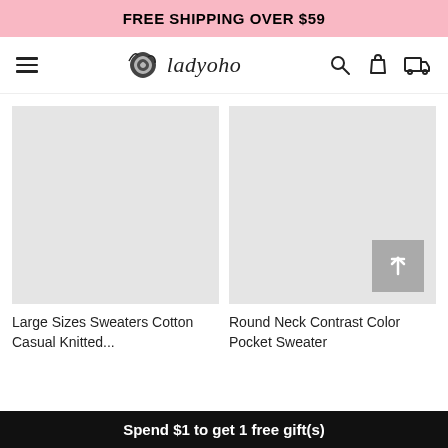FREE SHIPPING OVER $59
[Figure (logo): Ladyoho brand logo with rose icon and italic text]
[Figure (photo): Large Sizes Sweaters Cotton Casual Knitted product image placeholder]
Large Sizes Sweaters Cotton Casual Knitted...
[Figure (photo): Round Neck Contrast Color Pocket Sweater product image placeholder]
Round Neck Contrast Color Pocket Sweater
Spend $1 to get 1 free gift(s)